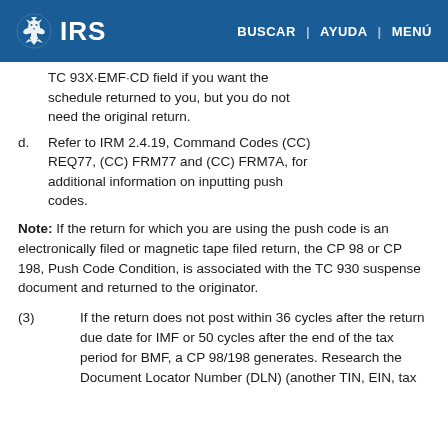IRS | BUSCAR | AYUDA | MENÚ
TC 93X·EMF·CD field if you want the schedule returned to you, but you do not need the original return.
d. Refer to IRM 2.4.19, Command Codes (CC) REQ77, (CC) FRM77 and (CC) FRM7A, for additional information on inputting push codes.
Note: If the return for which you are using the push code is an electronically filed or magnetic tape filed return, the CP 98 or CP 198, Push Code Condition, is associated with the TC 930 suspense document and returned to the originator.
(3) If the return does not post within 36 cycles after the return due date for IMF or 50 cycles after the end of the tax period for BMF, a CP 98/198 generates. Research the Document Locator Number (DLN) (another TIN, EIN, tax